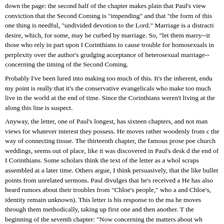down the page: the second half of the chapter makes plain that Paul's view conviction that the Second Coming is "impending" and that "the form of this one thing is needful, "undivided devotion to the Lord." Marriage is a distracti desire, which, for some, may be curbed by marriage. So, "let them marry--it those who rely in part upon I Corinthians to cause trouble for homosexuals in perplexity over the author's grudging acceptance of heterosexual marriage-- concerning the timing of the Second Coming.
Probably I've been lured into making too much of this. It's the inherent, endu my point is really that it's the conservative evangelicals who make too much live in the world at the end of time. Since the Corinthians weren't living at the along this line is suspect.
Anyway, the letter, one of Paul's longest, has sixteen chapters, and not man views for whatever interest they possess. He moves rather woodenly from c the way of connecting tissue. The thirteenth chapter, the famous prose poe church weddings, seems out of place, like it was discovered in Paul's desk d the end of I Corinthians. Some scholars think the text of the letter as a whol scraps assembled at a later time. Others argue, I think persuasively, that the like bullet points from unrelated sermons. Paul divulges that he's received a He has also heard rumors about their troubles from "Chloe's people," who a and Chloe's, identity remain unknown). This letter is his response to the ma he moves through them methodically, taking up first one and then another. T the beginning of the seventh chapter: "Now concerning the matters about wh chapters, according to this view, are Paul's response to the issues raised by after chapter 6 is his response to the issues raised in the letter delivered by t Fortunatus, and Achaichus, who are called out at 16:17.
If, however, one felt compelled to search out a unifying theme to I Corinthian estimation, would be the dour consistency with which Paul rejects Corinthiar the sex and marriage sections. In chapters 12 and 14, the theme is "spiritua tongues," which receive another of Paul's sulky imprimaturs--you can almos saying that this kind of "gift" is rooted in the psychological desire to be above